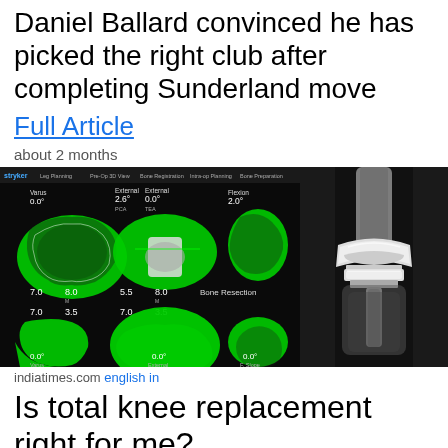Daniel Ballard convinced he has picked the right club after completing Sunderland move
Full Article
about 2 months
[Figure (screenshot): Stryker surgical knee planning software screenshot showing green knee bone overlays with measurements, and an X-ray image of a knee replacement]
indiatimes.com english in
Is total knee replacement right for me?